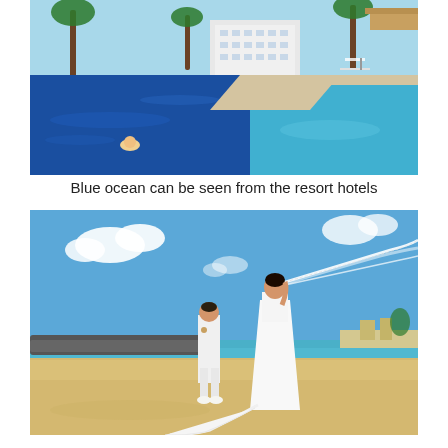[Figure (photo): Resort hotel swimming pool with deep blue water, tropical trees and white hotel buildings in background, person swimming in pool]
Blue ocean can be seen from the resort hotels
[Figure (photo): Wedding photo on a sandy beach with blue sky. Bride in white dress with long veil blowing in wind, groom in white suit standing nearby. Turquoise ocean in the background.]